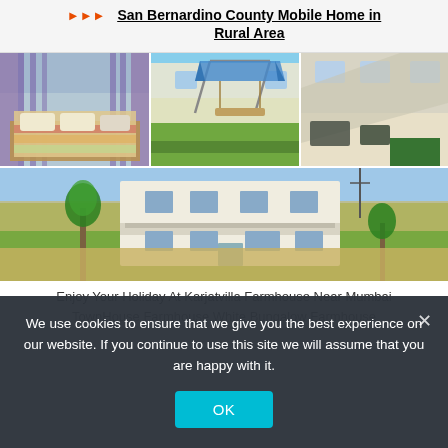San Bernardino County Mobile Home in Rural Area
[Figure (photo): Photo collage of a farmhouse/villa property: top row shows bedroom interior with purple curtains and a bed, outdoor swing/play area with blue canopy, and interior living space viewed from above; bottom row shows exterior aerial view of a white multi-story farmhouse building surrounded by dry fields and palm trees.]
Enjoy Your Holiday At Karjatvilla Farmhouse Near Mumbai
TownHouse Farmhouse White Bungalow Farmhouse
We use cookies to ensure that we give you the best experience on our website. If you continue to use this site we will assume that you are happy with it.
OK